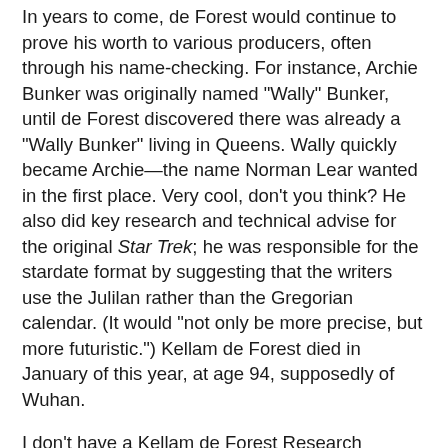In years to come, de Forest would continue to prove his worth to various producers, often through his name-checking. For instance, Archie Bunker was originally named "Wally" Bunker, until de Forest discovered there was already a "Wally Bunker" living in Queens. Wally quickly became Archie—the name Norman Lear wanted in the first place. Very cool, don't you think? He also did key research and technical advise for the original Star Trek; he was responsible for the stardate format by suggesting that the writers use the Julilan rather than the Gregorian calendar. (It would "not only be more precise, but more futuristic.") Kellam de Forest died in January of this year, at age 94, supposedly of Wuhan.
I don't have a Kellam de Forest Research Services at hand for my use, although the resources of the internet probably provide me with more data than de Forest could have dreamt of. It's knowing how to use the research that counts. And when it comes to storytelling, it's the details—putting a war in South Vietnam instead of Laos, or taking care to avoid historical anachronisms—that can make all the difference.